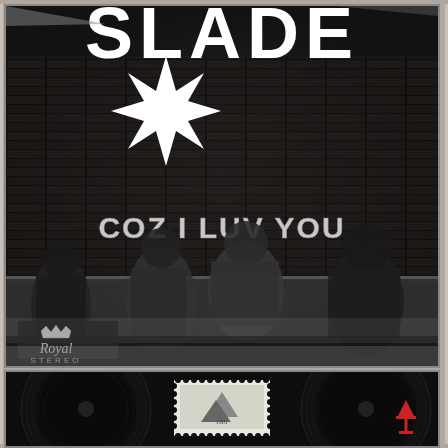[Figure (photo): Album cover for Slade 'Coz I Luv You' single. Black and white photo showing four band members seated against a brick wall. Large 'SLADE' text at top, decorative star burst graphic, bold stylized text reading 'COZ I LUV YOU', Royal Stereo logo in bottom left corner.]
[Figure (photo): Bottom portion showing a vinyl record and a postage stamp with handwritten/illustrated design, against dark background. Red arrow/anchor logo in bottom right corner.]